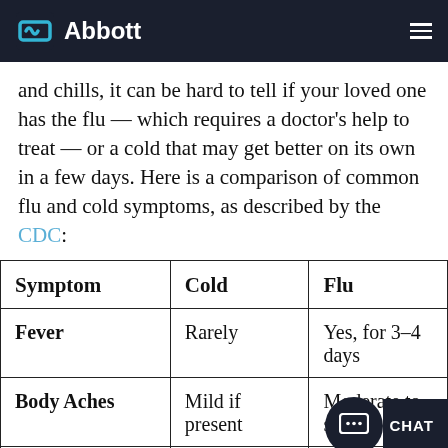Abbott
and chills, it can be hard to tell if your loved one has the flu — which requires a doctor's help to treat — or a cold that may get better on its own in a few days. Here is a comparison of common flu and cold symptoms, as described by the CDC:
| Symptom | Cold | Flu |
| --- | --- | --- |
| Fever | Rarely | Yes, for 3–4 days |
| Body Aches | Mild if present | Moderate to severe |
| Sore Throat | Common | Not typical |